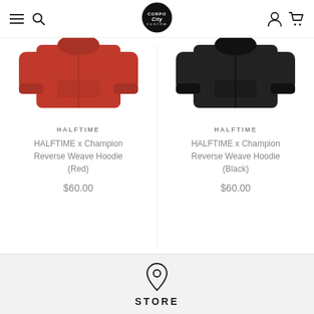Corpo City custom store header with menu, logo, account and cart icons
[Figure (photo): Red hoodie product photo cropped at top]
HALFTIME
HALFTIME x Champion Reverse Weave Hoodie (Red)
$60.00
[Figure (photo): Black hoodie product photo cropped at top]
HALFTIME
HALFTIME x Champion Reverse Weave Hoodie (Black)
$60.00
STORE